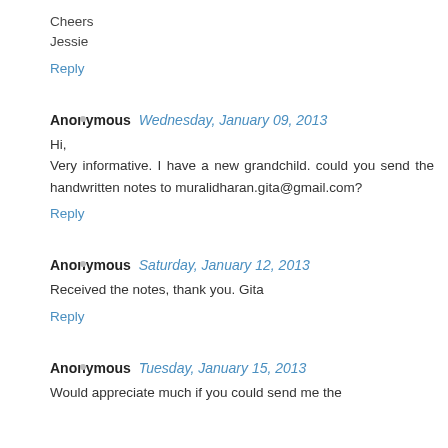Cheers
Jessie
Reply
Anonymous  Wednesday, January 09, 2013
Hi,
Very informative. I have a new grandchild. could you send the handwritten notes to muralidharan.gita@gmail.com?
Reply
Anonymous  Saturday, January 12, 2013
Received the notes, thank you. Gita
Reply
Anonymous  Tuesday, January 15, 2013
Would appreciate much if you could send me the